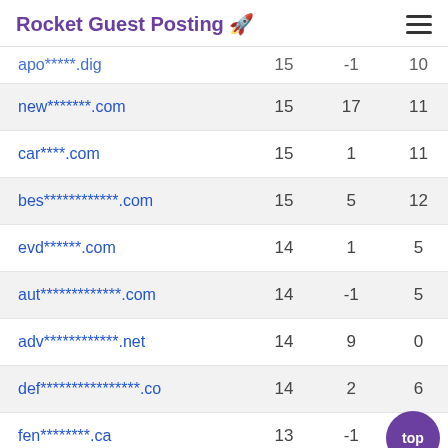Rocket Guest Posting 🚀
| Domain | DA | Delta | RD |
| --- | --- | --- | --- |
| apo*****.dig | 15 | -1 | 10 |
| new*******.com | 15 | 17 | 11 |
| car****.com | 15 | 1 | 11 |
| bes************.com | 15 | 5 | 12 |
| evd******.com | 14 | 1 | 5 |
| aut*************.com | 14 | -1 | 5 |
| adv************.net | 14 | 9 | 0 |
| def****************.co | 14 | 2 | 6 |
| fen********.ca | 13 | -1 | 10 |
| stu**********.com | 13 | 4 | 3 |